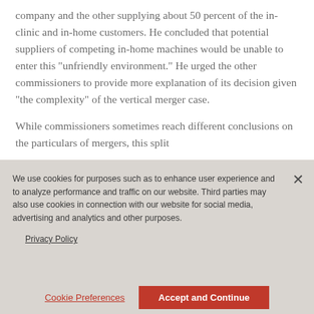company and the other supplying about 50 percent of the in-clinic and in-home customers. He concluded that potential suppliers of competing in-home machines would be unable to enter this “unfriendly environment.” He urged the other commissioners to provide more explanation of its decision given “the complexity” of the vertical merger case.
While commissioners sometimes reach different conclusions on the particulars of mergers, this split
We use cookies for purposes such as to enhance user experience and to analyze performance and traffic on our website. Third parties may also use cookies in connection with our website for social media, advertising and analytics and other purposes.
Privacy Policy
Cookie Preferences
Accept and Continue